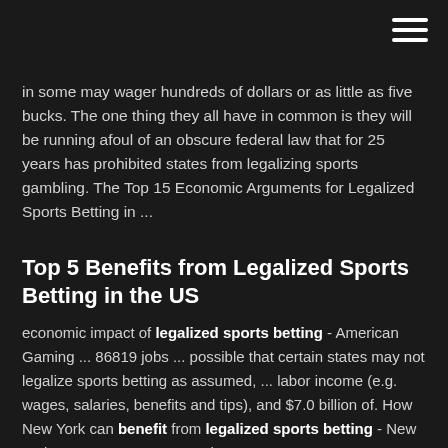in some may wager hundreds of dollars or as little as five bucks. The one thing they all have in common is they will be running afoul of an obscure federal law that for 25 years has prohibited states from legalizing sports gambling. The Top 15 Economic Arguments for Legalized Sports Betting in ...
Top 5 Benefits from Legalized Sports Betting in the US
economic impact of legalized sports betting - American Gaming ... 86819 jobs ... possible that certain states may not legalize sports betting as assumed, ... labor income (e.g. wages, salaries, benefits and tips), and $7.0 billion of. How New York can benefit from legalized sports betting - New York Post May 14, 2018 ... The US Supreme Court